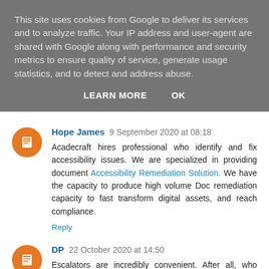This site uses cookies from Google to deliver its services and to analyze traffic. Your IP address and user-agent are shared with Google along with performance and security metrics to ensure quality of service, generate usage statistics, and to detect and address abuse.
LEARN MORE   OK
Hope James  9 September 2020 at 08:18
Acadecraft hires professional who identify and fix accessibility issues. We are specialized in providing document Accessibility Remediation Solution. We have the capacity to produce high volume Doc remediation capacity to fast transform digital assets, and reach compliance.
Reply
DP  22 October 2020 at 14:50
Escalators are incredibly convenient. After all, who wants to hike up all those stairs when you can do so effortlessly on